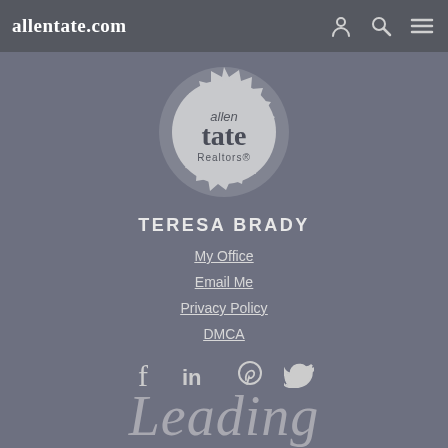allentate.com
[Figure (logo): Allen Tate Realtors circular seal logo with sawtooth edge, white on gray background]
TERESA BRADY
My Office
Email Me
Privacy Policy
DMCA
[Figure (other): Social media icons: Facebook, LinkedIn, Pinterest, Twitter]
Leading